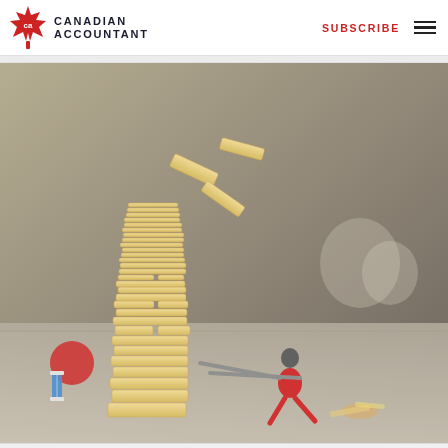Canadian Accountant — SUBSCRIBE
[Figure (photo): A superhero action figure (resembling Ant-Man in red and black suit) pushing against a tall tower of Jenga-style wooden blocks that are falling/toppling. In the background are a red ball, a blue and white hourglass timer, and other small objects scattered on the floor. The scene is shot from a low angle making the miniature figure appear life-sized relative to the blocks.]